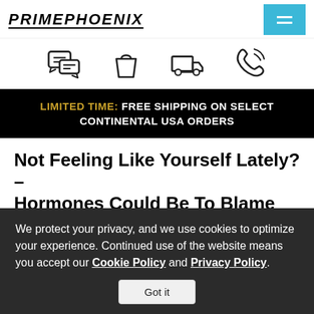PRIMEPHOENIX
[Figure (illustration): Four icons in a row: chat/message bubbles, shopping bag, delivery truck, phone/call]
LIMITED TIME: FREE SHIPPING ON SELECT CONTINENTAL USA ORDERS
Not Feeling Like Yourself Lately? – Hormones Could Be To Blame
Eric Barnett
We protect your privacy, and we use cookies to optimize your experience. Continued use of the website means you accept our Cookie Policy and Privacy Policy.